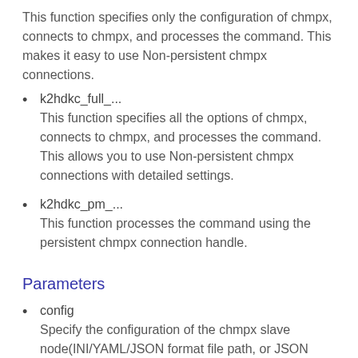This function specifies only the configuration of chmpx, connects to chmpx, and processes the command. This makes it easy to use Non-persistent chmpx connections.
k2hdkc_full_...
This function specifies all the options of chmpx, connects to chmpx, and processes the command. This allows you to use Non-persistent chmpx connections with detailed settings.
k2hdkc_pm_...
This function processes the command using the persistent chmpx connection handle.
Parameters
config
Specify the configuration of the chmpx slave node(INI/YAML/JSON format file path, or JSON character string).